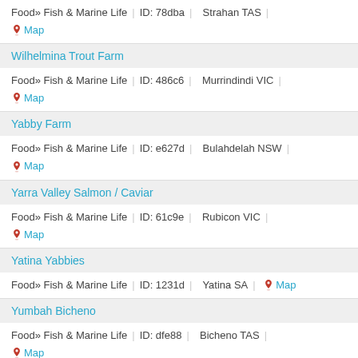Food» Fish & Marine Life | ID: 78dba | Strahan TAS | Map
Wilhelmina Trout Farm
Food» Fish & Marine Life | ID: 486c6 | Murrindindi VIC | Map
Yabby Farm
Food» Fish & Marine Life | ID: e627d | Bulahdelah NSW | Map
Yarra Valley Salmon / Caviar
Food» Fish & Marine Life | ID: 61c9e | Rubicon VIC | Map
Yatina Yabbies
Food» Fish & Marine Life | ID: 1231d | Yatina SA | Map
Yumbah Bicheno
Food» Fish & Marine Life | ID: dfe88 | Bicheno TAS | Map
Yumbah Kangaroo Island Pty Ltd
Food» Fish & Marine Life | ID: 11cd5 | Wisanger SA | Map
Yumbah Narrawong